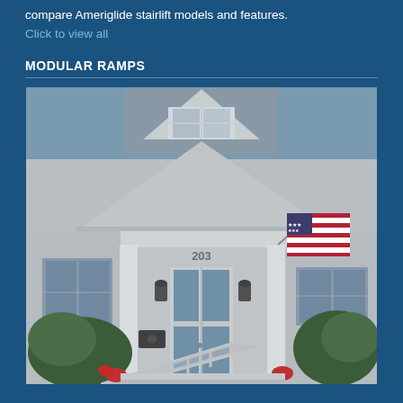compare Ameriglide stairlift models and features.
Click to view all
MODULAR RAMPS
[Figure (photo): Photograph of a house at address 203 with a modular ramp with metal handrails installed at the front entrance. An American flag is displayed on a pole attached to the front porch column. The house has grey siding, white trim, and evergreen shrubs near the ramp.]